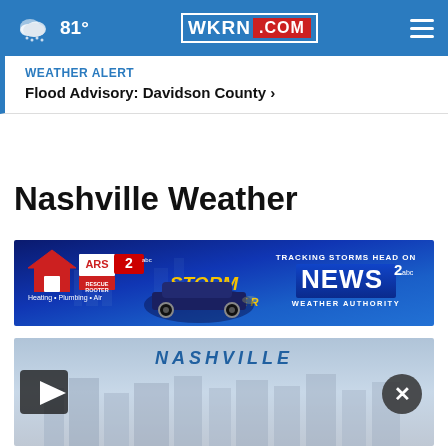81° WKRN.COM
WEATHER ALERT
Flood Advisory: Davidson County >
Nashville Weather
[Figure (photo): ARS Rescue Rooter advertisement with Storm Tracker vehicle and News 2 Weather Authority branding. Text: TRACKING STORMS HEAD ON, NEWS 2, WEATHER AUTHORITY, ARS RESCUE ROOTER, Heating • Plumbing • Air, STORM TRACKER]
[Figure (screenshot): Video thumbnail showing Nashville cityscape with play button on left and close (X) button on right. Text: NASHVILLE visible at top.]